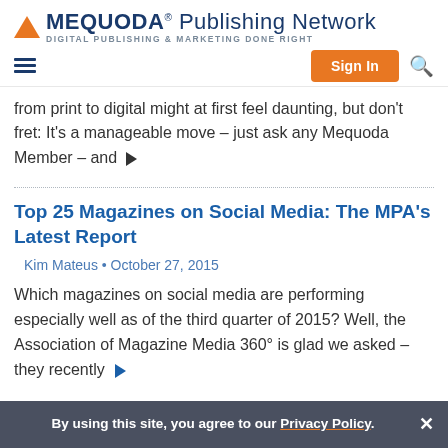MEQUODA® Publishing Network — DIGITAL PUBLISHING & MARKETING DONE RIGHT
from print to digital might at first feel daunting, but don't fret: It's a manageable move – just ask any Mequoda Member – and ▶
Top 25 Magazines on Social Media: The MPA's Latest Report
Kim Mateus • October 27, 2015
Which magazines on social media are performing especially well as of the third quarter of 2015? Well, the Association of Magazine Media 360° is glad we asked – they recently ▶
By using this site, you agree to our Privacy Policy.